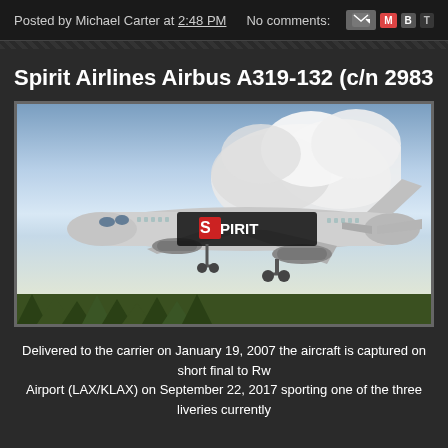Posted by Michael Carter at 2:48 PM   No comments:
Spirit Airlines Airbus A319-132 (c/n 2983...
[Figure (photo): Spirit Airlines Airbus A319-132 aircraft on short final approach, showing the aircraft in Spirit livery with 'SPIRIT' branding on the fuselage, against a cloudy sky with trees visible at the bottom.]
Delivered to the carrier on January 19, 2007 the aircraft is captured on short final to Rw... Airport (LAX/KLAX) on September 22, 2017 sporting one of the three liveries currently...